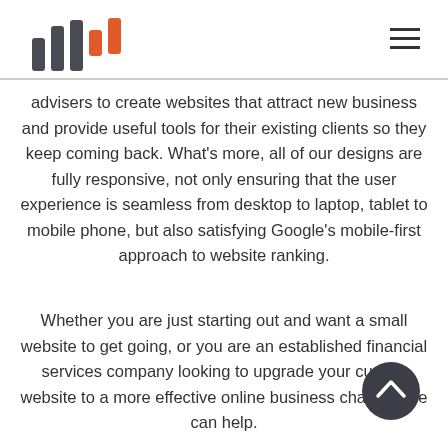[Figure (logo): Bar chart style logo with dark grey and orange vertical bars of varying heights]
[Figure (other): Hamburger menu icon (three horizontal lines) in top right corner]
advisers to create websites that attract new business and provide useful tools for their existing clients so they keep coming back. What's more, all of our designs are fully responsive, not only ensuring that the user experience is seamless from desktop to laptop, tablet to mobile phone, but also satisfying Google's mobile-first approach to website ranking.
Whether you are just starting out and want a small website to get going, or you are an established financial services company looking to upgrade your current website to a more effective online business channel, we can help.
[Figure (other): Scroll to top button: dark grey circle with white upward chevron arrow]